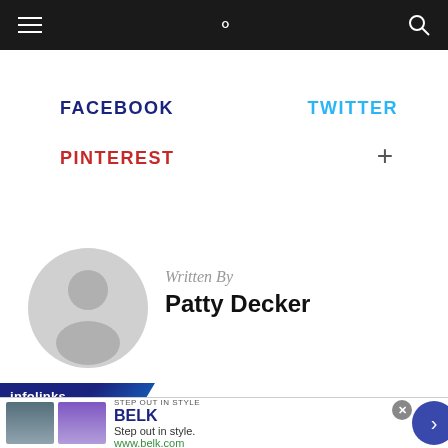Navigation bar with hamburger menu and search icon
FACEBOOK
TWITTER
PINTEREST
+
[Figure (illustration): Default user avatar circle with head and shoulders silhouette in light gray]
Written By
Patty Decker
[Figure (screenshot): Infolinks advertisement bar with BELK brand: Step out in style. www.belk.com, product images, close button, and navigation arrow]